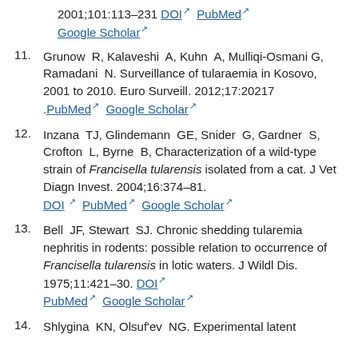[continued] 2001;101:113–231 DOI PubMed Google Scholar
11. Grunow R, Kalaveshi A, Kuhn A, Mulliqi-Osmani G, Ramadani N. Surveillance of tularaemia in Kosovo, 2001 to 2010. Euro Surveill. 2012;17:20217 . PubMed  Google Scholar
12. Inzana TJ, Glindemann GE, Snider G, Gardner S, Crofton L, Byrne B, Characterization of a wild-type strain of Francisella tularensis isolated from a cat. J Vet Diagn Invest. 2004;16:374–81. DOI  PubMed  Google Scholar
13. Bell JF, Stewart SJ. Chronic shedding tularemia nephritis in rodents: possible relation to occurrence of Francisella tularensis in lotic waters. J Wildl Dis. 1975;11:421–30. DOI  PubMed  Google Scholar
14. Shlygina KN, Olsuf'ev NG. Experimental latent